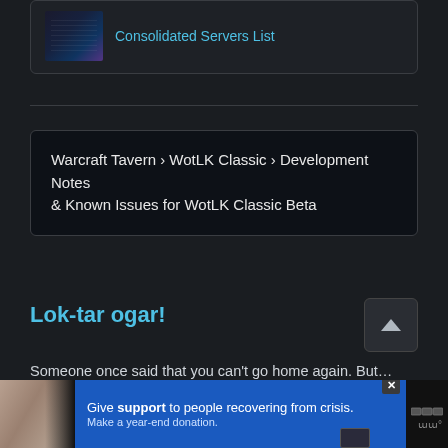Consolidated Servers List
Warcraft Tavern › WotLK Classic › Development Notes & Known Issues for WotLK Classic Beta
Lok-tar ogar!
Someone once said that you can't go home again. But ... lacked vision. And a temporal discombobulator! At Warcraft Tavern we're huge fans of World of Warcraft. Here you can
[Figure (screenshot): Advertisement banner: photo of two people embracing on left, blue background with text 'Give support to people recovering from crisis. Make a year-end donation.' and a close button]